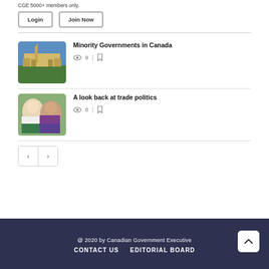CGE 5000+ members only.
Login | Join Now
Minority Governments in Canada
9 views
A look back at trade politics
0 views
@ 2020 by Canadian Government Executive
CONTACT US   EDITORIAL BOARD